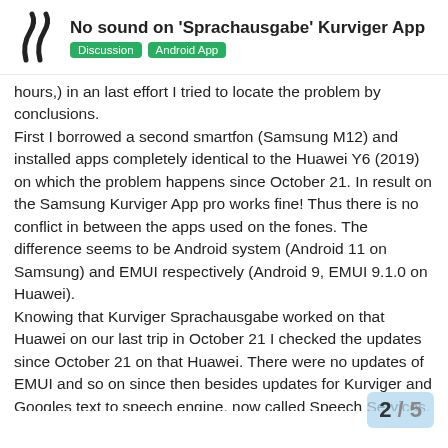No sound on 'Sprachausgabe' Kurviger App — Discussion | Android App
hours,) in an last effort I tried to locate the problem by conclusions.
First I borrowed a second smartfon (Samsung M12) and installed apps completely identical to the Huawei Y6 (2019) on which the problem happens since October 21. In result on the Samsung Kurviger App pro works fine! Thus there is no conflict in between the apps used on the fones. The difference seems to be Android system (Android 11 on Samsung) and EMUI respectively (Android 9, EMUI 9.1.0 on Huawei).
Knowing that Kurviger Sprachausgabe worked on that Huawei on our last trip in October 21 I checked the updates since October 21 on that Huawei. There were no updates of EMUI and so on since then besides updates for Kurviger and Googles text to speech engine, now called Speech Services. The new installation of both apps didn´t solve the problem, naturally.
Thus from my point of view the preliminary assessment is, that the Huawei doesn't communicate correctly with the versions of either Kurviger or Speech Serv… the problem assumably lies within the one…
2 / 5